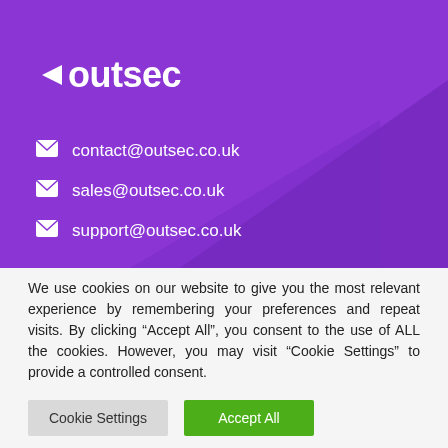[Figure (logo): Outsec logo: left-pointing arrow triangle followed by 'outsec' text in white on purple background]
contact@outsec.co.uk
sales@outsec.co.uk
support@outsec.co.uk
We use cookies on our website to give you the most relevant experience by remembering your preferences and repeat visits. By clicking “Accept All”, you consent to the use of ALL the cookies. However, you may visit “Cookie Settings” to provide a controlled consent.